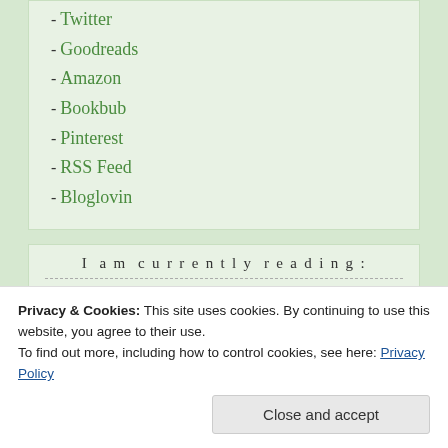- Twitter
- Goodreads
- Amazon
- Bookbub
- Pinterest
- RSS Feed
- Bloglovin
I am currently reading:
[Figure (photo): Book cover: Winter's something by Everina Maxwell, dark teal/green cover]
[Figure (photo): Book cover by Melissa Pearl, dark cover]
Privacy & Cookies: This site uses cookies. By continuing to use this website, you agree to their use.
To find out more, including how to control cookies, see here: Privacy Policy
Close and accept